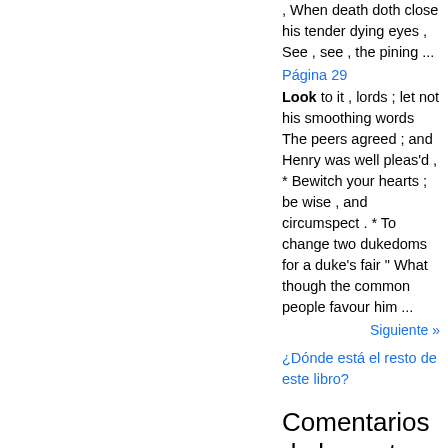, When death doth close his tender dying eyes , See , see , the pining ...
Página 29
Look to it , lords ; let not his smoothing words The peers agreed ; and Henry was well pleas'd , * Bewitch your hearts ; be wise , and circumspect . * To change two dukedoms for a duke's fair " What though the common people favour him ...
Siguiente »
¿Dónde está el resto de este libro?
Comentarios de la gente - Escribir